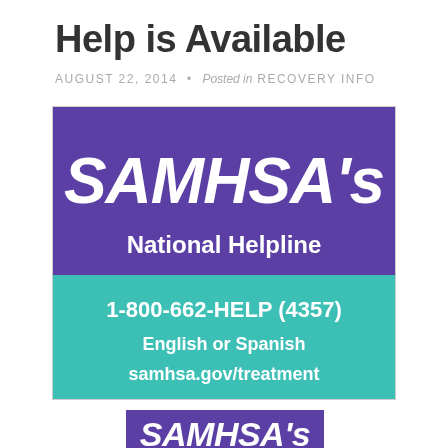Help is Available
AUGUST 22, 2014 • Posted in RECOVERY INFO
[Figure (logo): SAMHSA's National Helpline banner with phone number 1-800-662-HELP (4357), English or Spanish, samhsa.gov/treatment. Purple top section with SAMHSA's National Helpline text, teal bottom section with contact info.]
[Figure (logo): Partial SAMHSA's logo banner in purple at bottom of page, cropped.]